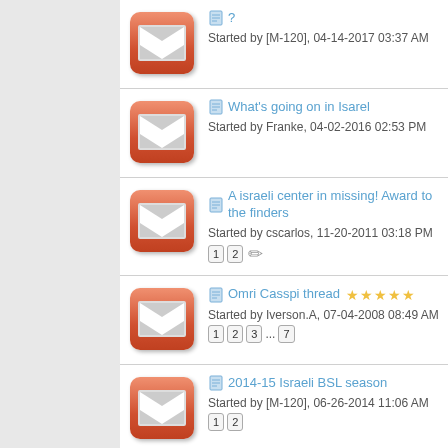? Started by [M-120], 04-14-2017 03:37 AM
What's going on in Isarel - Started by Franke, 04-02-2016 02:53 PM
A israeli center in missing! Award to the finders - Started by cscarlos, 11-20-2011 03:18 PM - pages 1 2
Omri Casspi thread - Started by Iverson.A, 07-04-2008 08:49 AM - pages 1 2 3 ... 7
2014-15 Israeli BSL season - Started by [M-120], 06-26-2014 11:06 AM - pages 1 2
New basketball stadiums in Israel - Started by [M-120], 10-12-2011 01:29 PM - pages 1 2